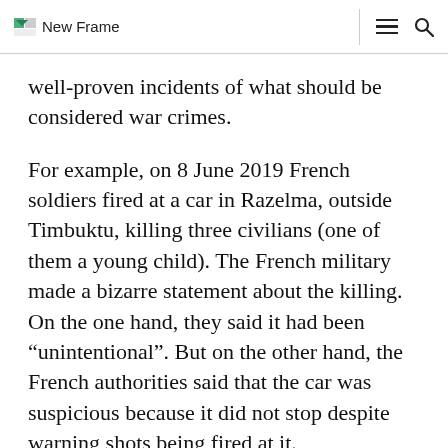New Frame
well-proven incidents of what should be considered war crimes.
For example, on 8 June 2019 French soldiers fired at a car in Razelma, outside Timbuktu, killing three civilians (one of them a young child). The French military made a bizarre statement about the killing. On the one hand, they said it had been “unintentional”. But on the other hand, the French authorities said that the car was suspicious because it did not stop despite warning shots being fired at it.